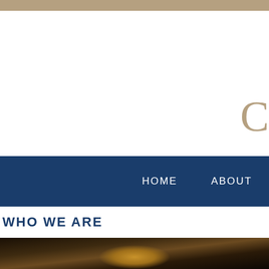[Figure (screenshot): Top portion of a law firm website. Tan/beige header bar at top, large white area with a partial decorative letter 'C' in gold/tan on the right side, dark navy blue navigation bar with 'HOME' and 'ABOUT' menu items, 'WHO WE ARE' section header in bold navy text, and bottom portion showing a dark photo with a gold blurred object.]
HOME   ABOUT
WHO WE ARE